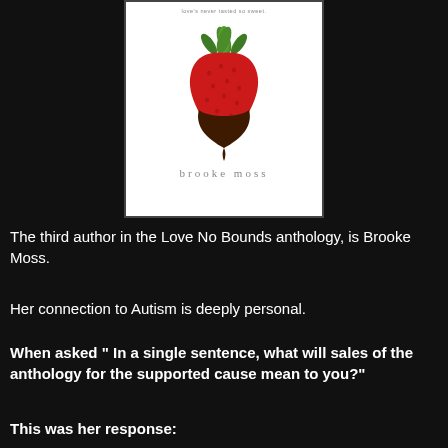[Figure (photo): Book cover image showing a chocolate-dipped heart-shaped strawberry on a white background with the tagline 'love's never tasted so sweet.' and author name 'brooke moss' in grey spaced lettering.]
The third author in the Love No Bounds anthology, is Brooke Moss.
Her connection to Autism is deeply personal.
When asked " In a single sentence, what will sales of the anthology for the supported cause mean to you?"
This was her response: